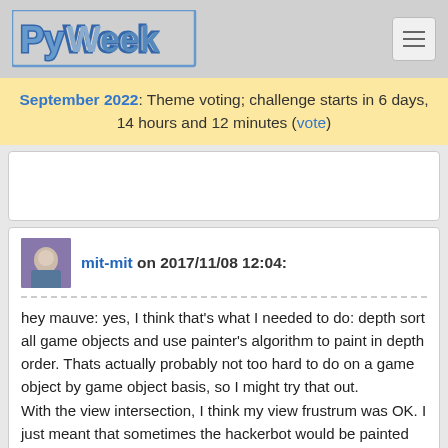PyWeek [logo]
September 2022: Theme voting; challenge starts in 6 days, 14 hours and 12 minutes (vote)
mit-mit on 2017/11/08 12:04:
hey mauve: yes, I think that's what I needed to do: depth sort all game objects and use painter's algorithm to paint in depth order. Thats actually probably not too hard to do on a game object by game object basis, so I might try that out.
With the view intersection, I think my view frustrum was OK. I just meant that sometimes the hackerbot would be painted blue when it occluded a shield from the perspective of the camera (because I was calling it's draw methods before blending with the shield), yet it still ends up being drawn on top, so presumably it is getting depth ordered correctly by OpenGL ... to get the blending to work I had to turn off depth filtering when calling the opengl functions for the shield (and then turn it straight on again), so I